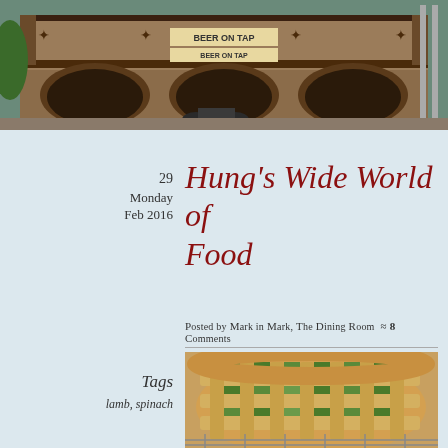[Figure (photo): Exterior of a historic brick pub/hotel building with 'BEER ON TAP' sign, featuring decorative ironwork balcony, arched entrances, and a motorcycle parked in front.]
29
Monday
Feb 2016
Hung's Wide World of Food
Posted by Mark in Mark, The Dining Room  ≈ 8 Comments
Tags
lamb, spinach
[Figure (photo): Close-up of a savory pie with a golden lattice pastry top, filled with green leafy spinach mixture, sitting on a wire cooling rack.]